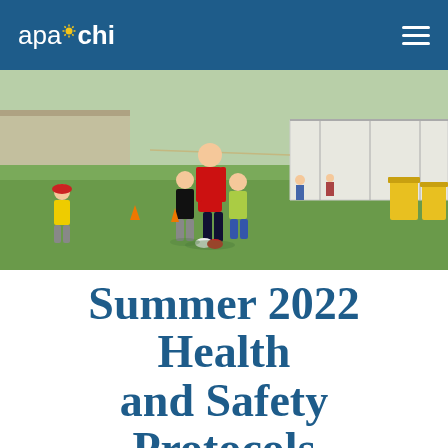apachi
[Figure (photo): Outdoor summer camp scene on a grass field. An adult in a red jersey assists children with an activity. A white tent canopy is visible in the background along with yellow equipment bins.]
Summer 2022 Health and Safety Protocols
Updated as of June 27, 2022